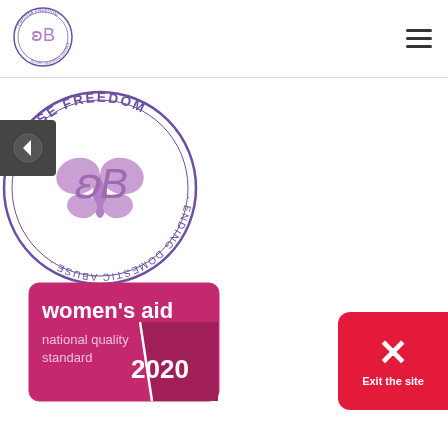[Figure (logo): I Choose Freedom - Ending Domestic Abuse circular logo with butterfly emblem, shown in header]
[Figure (logo): I Choose Freedom - Ending Domestic Abuse large circular logo with butterfly emblem, shown in main content area]
[Figure (logo): Women's Aid national quality standard 2020 badge]
[Figure (other): Exit the site button - red rounded rectangle with X icon and text 'Exit the site']